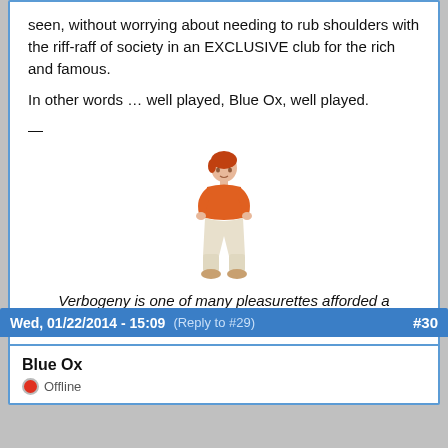seen, without worrying about needing to rub shoulders with the riff-raff of society in an EXCLUSIVE club for the rich and famous.
In other words … well played, Blue Ox, well played.
—
[Figure (illustration): A 3D rendered character of a woman with red hair, wearing an orange top and white pants, standing with hands on hips.]
Verbogeny is one of many pleasurettes afforded a creatific thinkerizer.
↑ Top   Log In Or Register To Post Comments
Wed, 01/22/2014 - 15:09 (Reply to #29)  #30
Blue Ox
Offline